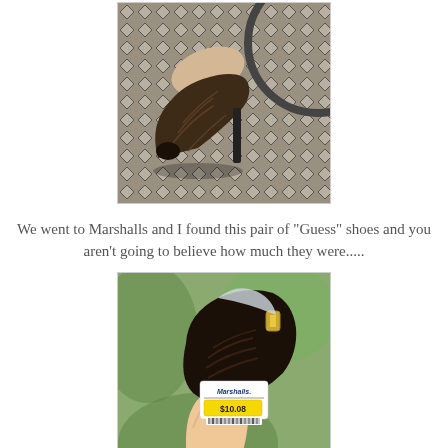[Figure (photo): Close-up photo of a brown and black patterned open-toe high heel shoe resting on a dark metal lattice/mesh patio furniture surface. The shoe appears to have a snakeskin or animal print texture.]
We went to Marshalls and I found this pair of "Guess" shoes and you aren't going to believe how much they were.....
[Figure (photo): Close-up photo of the bottom/sole of a shoe being held by a hand, showing a Marshalls price tag label with a yellow sticker showing the price $10.08 and a barcode. There is a red clearance sticker partially visible beneath the yellow one. The background shows green foliage/plants out of focus.]